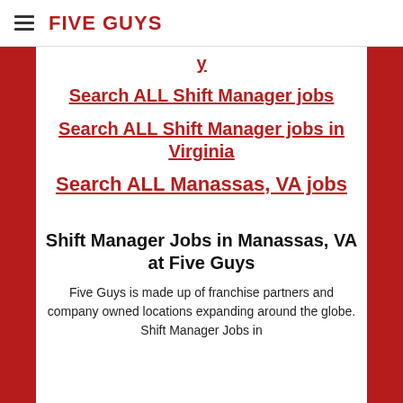FIVE GUYS
Search ALL Shift Manager jobs
Search ALL Shift Manager jobs in Virginia
Search ALL Manassas, VA jobs
Shift Manager Jobs in Manassas, VA at Five Guys
Five Guys is made up of franchise partners and company owned locations expanding around the globe. Shift Manager Jobs in